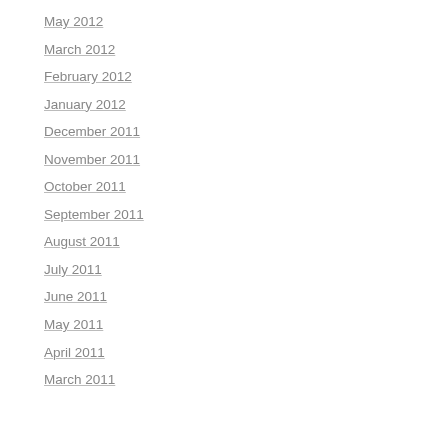May 2012
March 2012
February 2012
January 2012
December 2011
November 2011
October 2011
September 2011
August 2011
July 2011
June 2011
May 2011
April 2011
March 2011